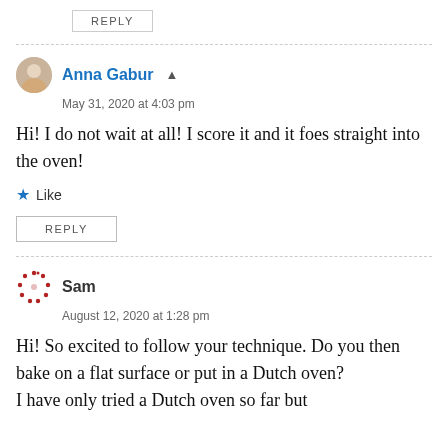REPLY
Anna Gabur
May 31, 2020 at 4:03 pm
Hi! I do not wait at all! I score it and it foes straight into the oven!
Like
REPLY
Sam
August 12, 2020 at 1:28 pm
Hi! So excited to follow your technique. Do you then bake on a flat surface or put in a Dutch oven? I have only tried a Dutch oven so far but